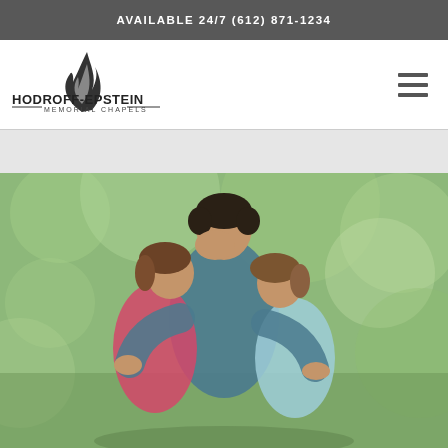AVAILABLE 24/7 (612) 871-1234
[Figure (logo): Hodroff-Epstein Memorial Chapels logo with flame icon]
[Figure (photo): A man hugging two women/children outdoors in a park setting, a comforting embrace scene]